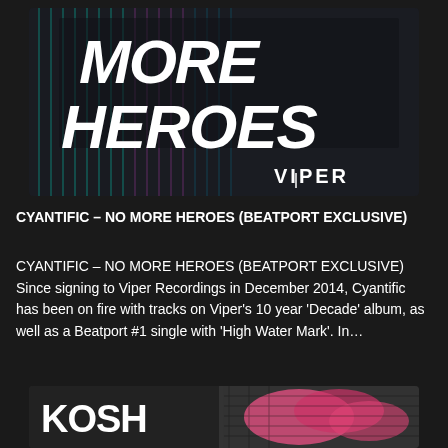[Figure (illustration): Album cover for 'No More Heroes' by Cyantific on Viper Recordings. Dark background with diagonal colored lines and bold white italic text 'MORE HEROES'. Viper logo in bottom right.]
CYANTIFIC – NO MORE HEROES (BEATPORT EXCLUSIVE)
CYANTIFIC – NO MORE HEROES (BEATPORT EXCLUSIVE) Since signing to Viper Recordings in December 2014, Cyantific has been on fire with tracks on Viper's 10 year 'Decade' album, as well as a Beatport #1 single with 'High Water Mark'. In…
[Figure (photo): Partial view of another article thumbnail at the bottom, showing text 'KOSH' and a colorful image.]